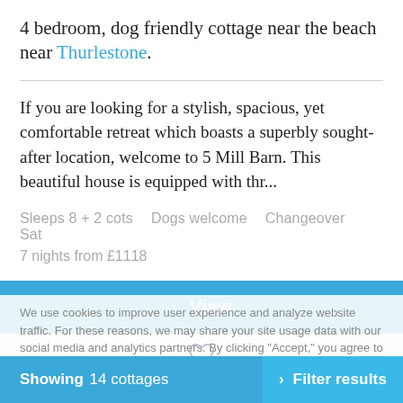4 bedroom, dog friendly cottage near the beach near Thurlestone.
If you are looking for a stylish, spacious, yet comfortable retreat which boasts a superbly sought-after location, welcome to 5 Mill Barn. This beautiful house is equipped with thr...
Sleeps 8 + 2 cots   Dogs welcome   Changeover Sat
7 nights from £1118
› View
We use cookies to improve user experience and analyze website traffic. For these reasons, we may share your site usage data with our social media and analytics partners. By clicking "Accept," you agree to our website's cookie use as described in our Cookie Policy. You can change your cookie settings at any time by clicking "Preferences"
Showing 14 cottages
› Filter results